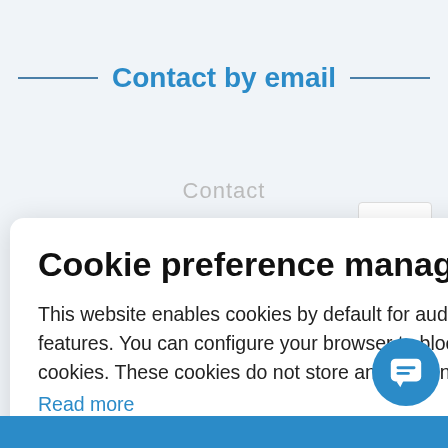Contact by email
Contact
Cookie preference management
This website enables cookies by default for audience measurement tools and anonymous features. You can configure your browser to block or be informed of the existence of these cookies. These cookies do not store any personally identifying information.
Read more
No thanks
I choose
Ok for me